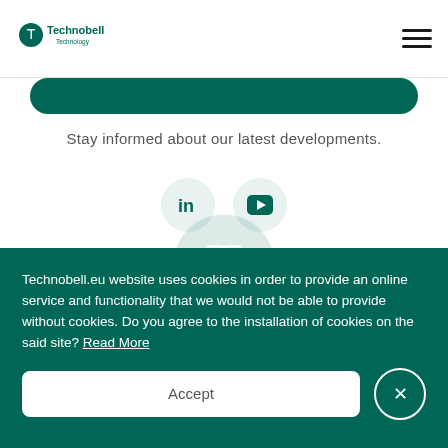Technobell Technology
[Figure (logo): Technobell Technology logo with green circular icon and text]
Stay informed about our latest developments.
[Figure (infographic): LinkedIn and YouTube social media icons in light green circles]
[Figure (logo): Large faded Technobell logo watermark]
Technobell.eu website uses cookies in order to provide an online service and functionality that we would not be able to provide without cookies. Do you agree to the installation of cookies on the said site? Read More
Accept